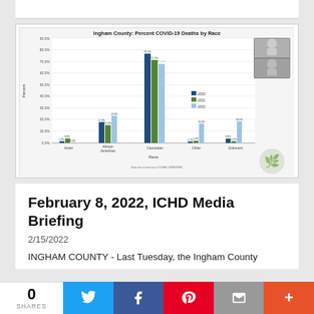[Figure (grouped-bar-chart): Grouped bar chart showing percent COVID-19 deaths by race in Ingham County for 2020, 2021, and 2022]
February 8, 2022, ICHD Media Briefing
2/15/2022
INGHAM COUNTY - Last Tuesday, the Ingham County